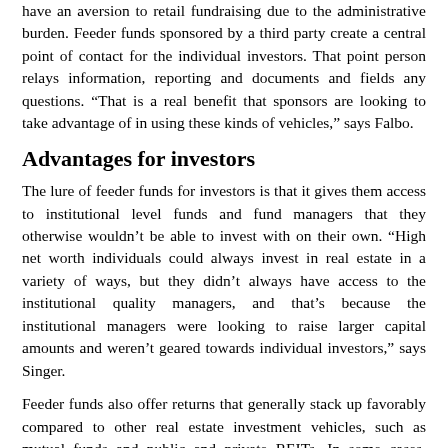have an aversion to retail fundraising due to the administrative burden. Feeder funds sponsored by a third party create a central point of contact for the individual investors. That point person relays information, reporting and documents and fields any questions. “That is a real benefit that sponsors are looking to take advantage of in using these kinds of vehicles,” says Falbo.
Advantages for investors
The lure of feeder funds for investors is that it gives them access to institutional level funds and fund managers that they otherwise wouldn’t be able to invest with on their own. “High net worth individuals could always invest in real estate in a variety of ways, but they didn’t always have access to the institutional quality managers, and that’s because the institutional managers were looking to raise larger capital amounts and weren’t geared towards individual investors,” says Singer.
Feeder funds also offer returns that generally stack up favorably compared to other real estate investment vehicles, such as mutual funds and public and private REITs. In some cases, feeder funds might boost returns by 1-2 percent percentage points when comparing vehicles with similar strategies. In part, that is because the private funds don’t have the same overhead as some of the